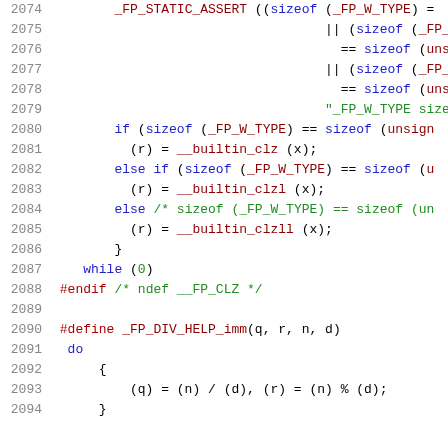[Figure (screenshot): Source code listing lines 2074-2094 showing C preprocessor macros and conditionals for _FP_W_TYPE size assertions and _FP_DIV_HELP_imm macro definition, with syntax highlighting.]